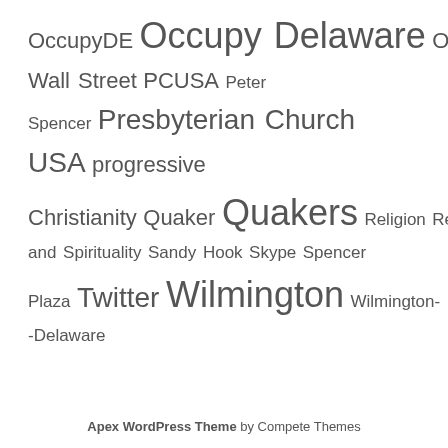[Figure (infographic): Tag cloud with terms related to Occupy Delaware, Quakers, Wilmington, religion, and social movements rendered in varying font sizes indicating frequency or importance.]
Apex WordPress Theme by Compete Themes